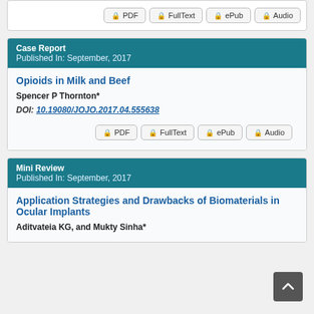[Figure (screenshot): Row of access buttons: PDF, FullText, ePub, Audio at the top of the page]
Case Report
Published In: September, 2017
Opioids in Milk and Beef
Spencer P Thornton*
DOI: 10.19080/JOJO.2017.04.555638
[Figure (screenshot): Row of access buttons: PDF, FullText, ePub, Audio]
Mini Review
Published In: September, 2017
Application Strategies and Drawbacks of Biomaterials in Ocular Implants
Aditvateia KG, and Mukty Sinha*